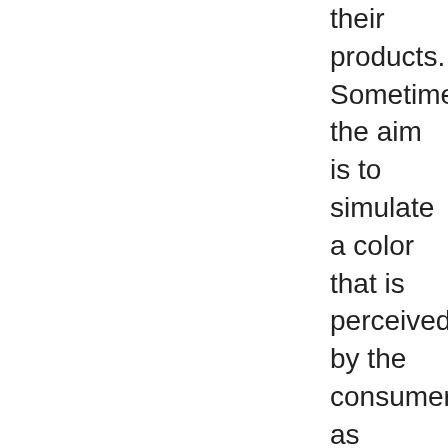their products. Sometimes, the aim is to simulate a color that is perceived by the consumer as natural, such as adding red coloring to glacé cherries (which would otherwise be beige). At other times, it is for effect, such as a variety of children's